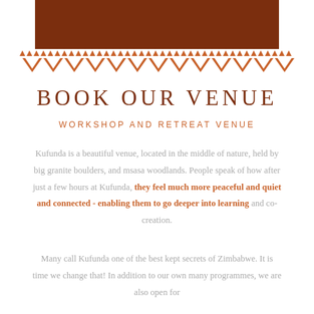[Figure (illustration): Dark brown rectangular header bar at the top center of the page]
[Figure (illustration): Tribal/ethnic decorative border pattern in orange-brown with rows of triangles and V-shapes]
BOOK OUR VENUE
WORKSHOP AND RETREAT VENUE
Kufunda is a beautiful venue, located in the middle of nature, held by big granite boulders, and msasa woodlands. People speak of how after just a few hours at Kufunda, they feel much more peaceful and quiet and connected - enabling them to go deeper into learning and co-creation.
Many call Kufunda one of the best kept secrets of Zimbabwe. It is time we change that! In addition to our own many programmes, we are also open for